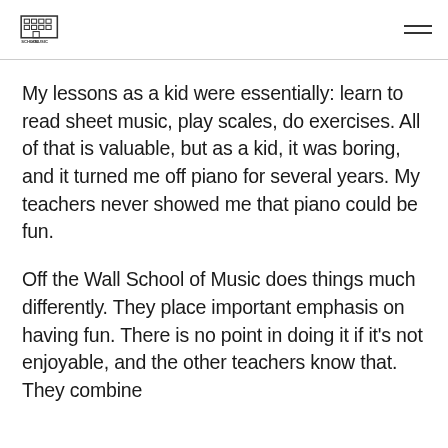Off the Wall School of Music
My lessons as a kid were essentially: learn to read sheet music, play scales, do exercises. All of that is valuable, but as a kid, it was boring, and it turned me off piano for several years. My teachers never showed me that piano could be fun.
Off the Wall School of Music does things much differently. They place important emphasis on having fun. There is no point in doing it if it's not enjoyable, and the other teachers know that. They combine